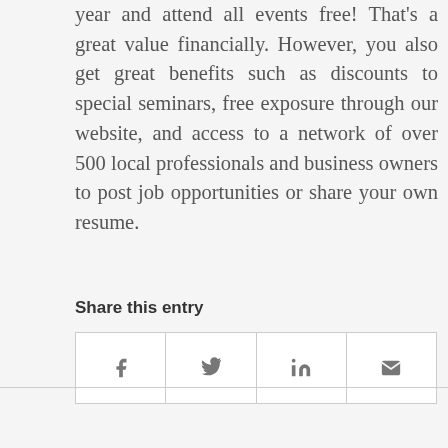year and attend all events free! That's a great value financially. However, you also get great benefits such as discounts to special seminars, free exposure through our website, and access to a network of over 500 local professionals and business owners to post job opportunities or share your own resume.
Share this entry
[Figure (infographic): Social share buttons row with Facebook, Twitter, LinkedIn, and email icons in bordered cells]